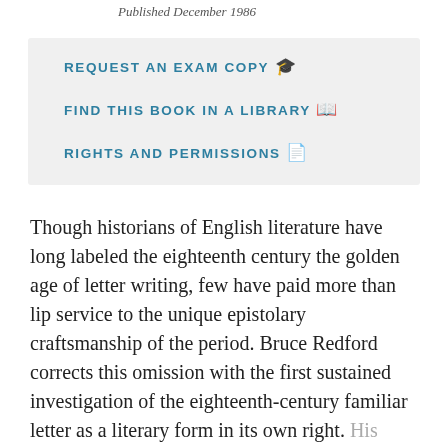Published December 1986
REQUEST AN EXAM COPY
FIND THIS BOOK IN A LIBRARY
RIGHTS AND PERMISSIONS
Though historians of English literature have long labeled the eighteenth century the golden age of letter writing, few have paid more than lip service to the unique epistolary craftsmanship of the period. Bruce Redford corrects this omission with the first sustained investigation of the eighteenth-century familiar letter as a literary form in its own right. His